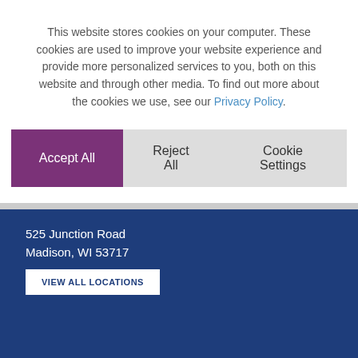This website stores cookies on your computer. These cookies are used to improve your website experience and provide more personalized services to you, both on this website and through other media. To find out more about the cookies we use, see our Privacy Policy.
Accept All | Reject All | Cookie Settings
525 Junction Road
Madison, WI 53717
VIEW ALL LOCATIONS
Talk to Our Team